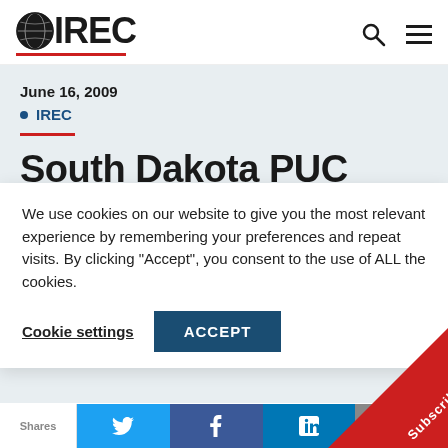IREC logo and navigation
June 16, 2009
IREC
South Dakota PUC Adopts
We use cookies on our website to give you the most relevant experience by remembering your preferences and repeat visits. By clicking “Accept”, you consent to the use of ALL the cookies.
Cookie settings  ACCEPT
Dakota Small Generation Interconnection Rule
Shares  [Twitter] [Facebook] [LinkedIn] [Email]